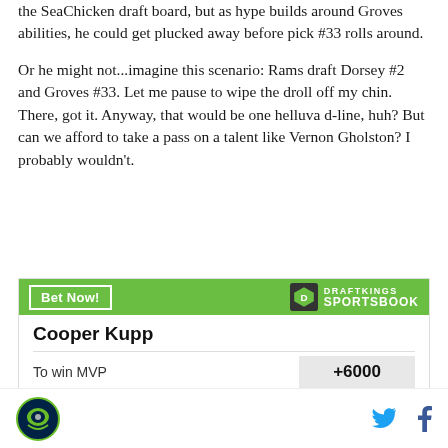the SeaChicken draft board, but as hype builds around Groves abilities, he could get plucked away before pick #33 rolls around.
Or he might not...imagine this scenario: Rams draft Dorsey #2 and Groves #33. Let me pause to wipe the droll off my chin. There, got it. Anyway, that would be one helluva d-line, huh? But can we afford to take a pass on a talent like Vernon Gholston? I probably wouldn't.
[Figure (other): DraftKings Sportsbook advertisement widget featuring Cooper Kupp with 'Bet Now!' button, DraftKings logo, player name, and odds 'To win MVP +6000']
Sea Hawks logo icon, Twitter icon, Facebook icon